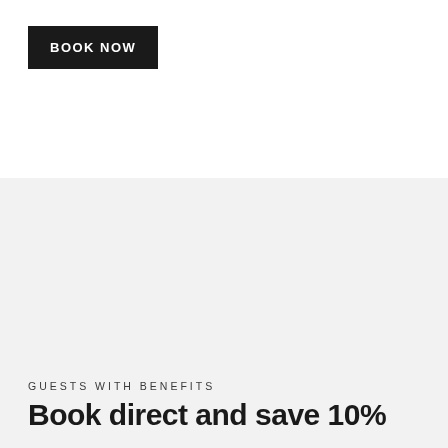BOOK NOW
GUESTS WITH BENEFITS
Book direct and save 10%
When you book direct using our promo code GWB you will become a Guests With Benefits member and will receive the best rates and benefits at all Sydney Lodges properties. All Guests With Benefits members receive a 10% discount and access to other benefits such as free unlimited wireless internet, free room upgrades and late check-out.